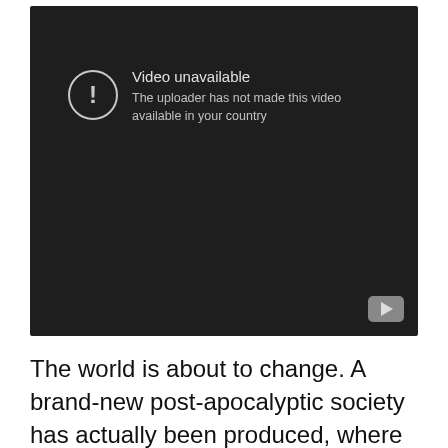[Figure (screenshot): A dark video player showing a 'Video unavailable' error message. The message reads: 'Video unavailable – The uploader has not made this video available in your country'. A YouTube play button icon appears in the bottom right corner.]
The world is about to change. A brand-new post-apocalyptic society has actually been produced, where the only method to make it